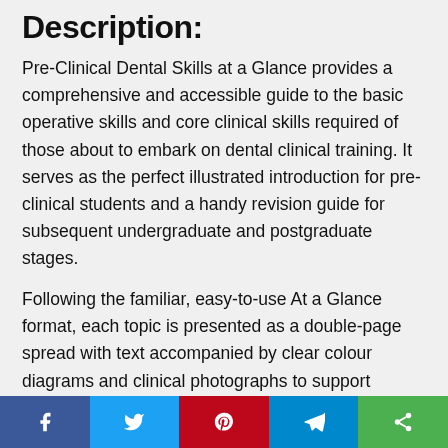Description:
Pre-Clinical Dental Skills at a Glance provides a comprehensive and accessible guide to the basic operative skills and core clinical skills required of those about to embark on dental clinical training. It serves as the perfect illustrated introduction for pre-clinical students and a handy revision guide for subsequent undergraduate and postgraduate stages.
Following the familiar, easy-to-use At a Glance format, each topic is presented as a double-page spread with text accompanied by clear colour diagrams and clinical photographs to support